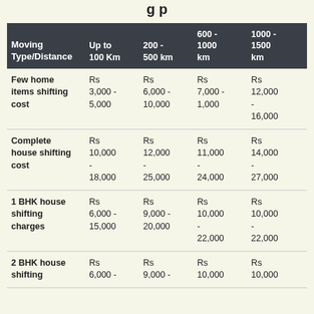| Moving Type/Distance | Up to 100 Km | 200 - 500 km | 600 - 1000 km | 1000 - 1500 km |
| --- | --- | --- | --- | --- |
| Few home items shifting cost | Rs 3,000 - 5,000 | Rs 6,000 - 10,000 | Rs 7,000 - 1,000 | Rs 12,000 - 16,000 |
| Complete house shifting cost | Rs 10,000 - 18,000 | Rs 12,000 - 25,000 | Rs 11,000 - 24,000 | Rs 14,000 - 27,000 |
| 1 BHK house shifting charges | Rs 6,000 - 15,000 | Rs 9,000 - 20,000 | Rs 10,000 - 22,000 | Rs 10,000 - 22,000 |
| 2 BHK house shifting | Rs 6,000 - | Rs 9,000 - | Rs 10,000 | Rs 10,000 |